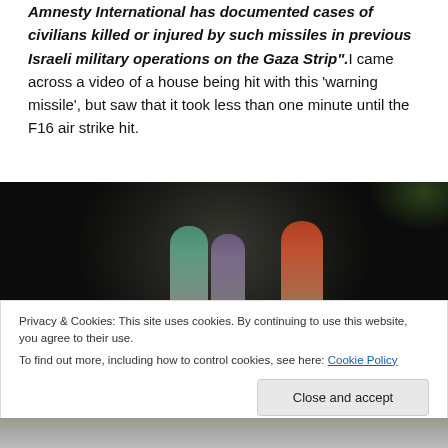civilian home can constitute an effective 'warning'. Amnesty International has documented cases of civilians killed or injured by such missiles in previous Israeli military operations on the Gaza Strip". I came across a video of a house being hit with this 'warning missile', but saw that it took less than one minute until the F16 air strike hit.
[Figure (photo): Three women wearing hijabs (teal, purple, and orange/red) walking outdoors. Dark background with blurred outdoor scene.]
Privacy & Cookies: This site uses cookies. By continuing to use this website, you agree to their use.
To find out more, including how to control cookies, see here: Cookie Policy
[Figure (photo): Partial view of feet/lower bodies walking, continuation of photo below cookie banner.]